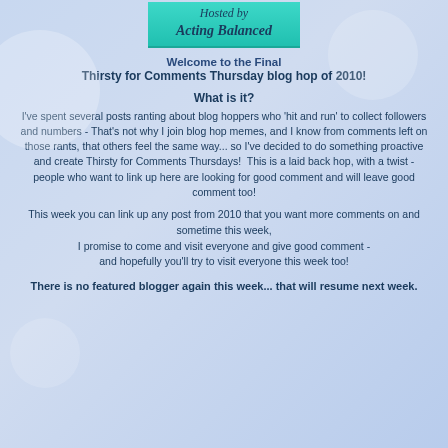[Figure (illustration): Teal/cyan banner with italic script text reading 'Hosted by Acting Balanced']
Welcome to the Final
Thirsty for Comments Thursday blog hop of 2010!
What is it?
I've spent several posts ranting about blog hoppers who 'hit and run' to collect followers and numbers - That's not why I join blog hop memes, and I know from comments left on those rants, that others feel the same way... so I've decided to do something proactive and create Thirsty for Comments Thursdays!  This is a laid back hop, with a twist - people who want to link up here are looking for good comment and will leave good comment too!
This week you can link up any post from 2010 that you want more comments on and sometime this week,
I promise to come and visit everyone and give good comment -
and hopefully you'll try to visit everyone this week too!
There is no featured blogger again this week... that will resume next week.